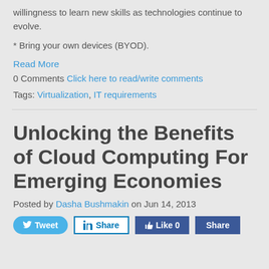willingness to learn new skills as technologies continue to evolve.
* Bring your own devices (BYOD).
Read More
0 Comments Click here to read/write comments
Tags: Virtualization, IT requirements
Unlocking the Benefits of Cloud Computing For Emerging Economies
Posted by Dasha Bushmakin on Jun 14, 2013
Tweet Share Like 0 Share